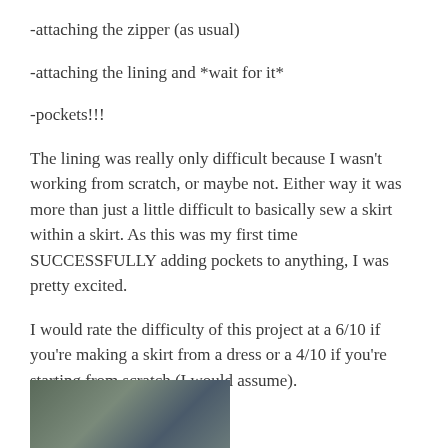-attaching the zipper (as usual)
-attaching the lining and *wait for it*
-pockets!!!
The lining was really only difficult because I wasn't working from scratch, or maybe not. Either way it was more than just a little difficult to basically sew a skirt within a skirt. As this was my first time SUCCESSFULLY adding pockets to anything, I was pretty excited.
I would rate the difficulty of this project at a 6/10 if you're making a skirt from a dress or a 4/10 if you're starting from scratch (I would assume).
[Figure (photo): Partial photo of a skirt project, dark fabric with decorative pattern visible at bottom of page]